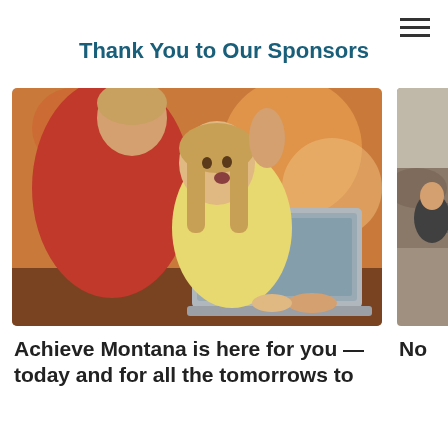Thank You to Our Sponsors
[Figure (photo): Adult and young girl looking at a laptop together, child appears excited/surprised, warm background lighting]
Achieve Montana is here for you — today and for all the tomorrows to
[Figure (photo): Partially visible photo on right side, appears to show a person outdoors]
No
Din